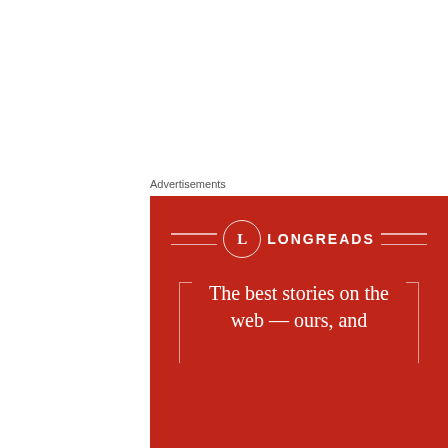Advertisements
[Figure (other): Longreads advertisement banner with red background showing logo and text 'The best stories on the web — ours, and']
Second drill is to eat just enough food during sahur and buka puasa. I used to be very specific about what
Privacy & Cookies: This site uses cookies. By continuing to use this website, you agree to their use.
To find out more, including how to control cookies, see here: Cookie Policy
Close and accept
them at buka puasa time. Imagine how full I became?